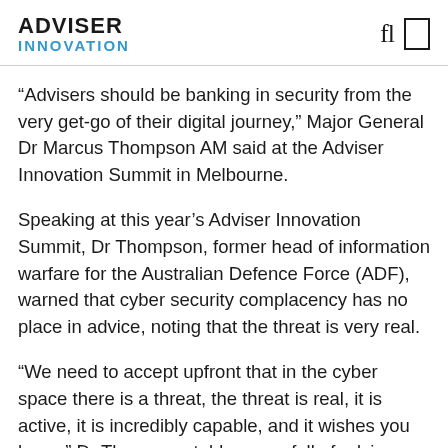ADVISER INNOVATION
“Advisers should be banking in security from the very get-go of their digital journey,” Major General Dr Marcus Thompson AM said at the Adviser Innovation Summit in Melbourne.
Speaking at this year’s Adviser Innovation Summit, Dr Thompson, former head of information warfare for the Australian Defence Force (ADF), warned that cyber security complacency has no place in advice, noting that the threat is very real.
“We need to accept upfront that in the cyber space there is a threat, the threat is real, it is active, it is incredibly capable, and it wishes you harm,” Dr Thompson told a room full of advisers on Wednesday.